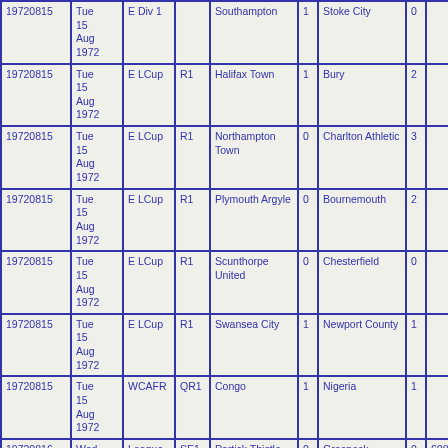| Date | Date Text | Competition | Round | Home Team | HG | Away Team | AG | Attendance |
| --- | --- | --- | --- | --- | --- | --- | --- | --- |
| 19720815 | Tue 15 Aug 1972 | E Div 1 |  | Southampton | 1 | Stoke City | 0 |  |
| 19720815 | Tue 15 Aug 1972 | E LCup | R1 | Halifax Town | 1 | Bury | 2 |  |
| 19720815 | Tue 15 Aug 1972 | E LCup | R1 | Northampton Town | 0 | Charlton Athletic | 3 |  |
| 19720815 | Tue 15 Aug 1972 | E LCup | R1 | Plymouth Argyle | 0 | Bournemouth | 2 |  |
| 19720815 | Tue 15 Aug 1972 | E LCup | R1 | Scunthorpe United | 0 | Chesterfield | 0 |  |
| 19720815 | Tue 15 Aug 1972 | E LCup | R1 | Swansea City | 1 | Newport County | 1 |  |
| 19720815 | Tue 15 Aug 1972 | WCAFR | QR1 | Congo | 1 | Nigeria | 1 |  |
| 19720816 | Wed 16 Aug 1972 | League Cup | SE1 | Partick Thistle | 0 | Greenock Morton | 0 | 6089 |
| 19720816 | Wed 16 Aug 1972 | League Cup | SE1 | Stranraer | 3 | Cowdenbeath | 0 | 2173 |
| 19720816 | Wed 16 Aug 1972 | League | SE2 | Aberdeen | 4 | Hibernian | 1 | 21860 |